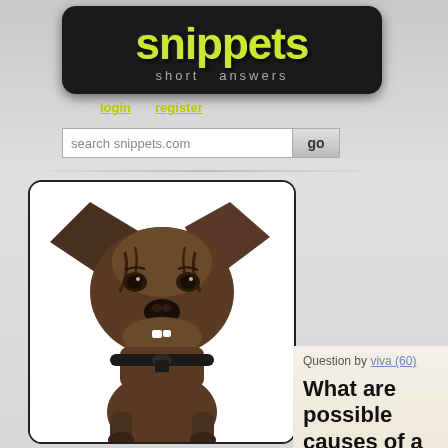[Figure (logo): Snippets logo with yellow-green text on black rounded rectangle, tagline 'short answers']
login   register
search snippets.com   go
[Figure (photo): Close-up photo of a small brindle dog with large ears, wearing a black harness, looking grumpy toward the camera against white background]
Question by viva (60)
What are possible causes of a